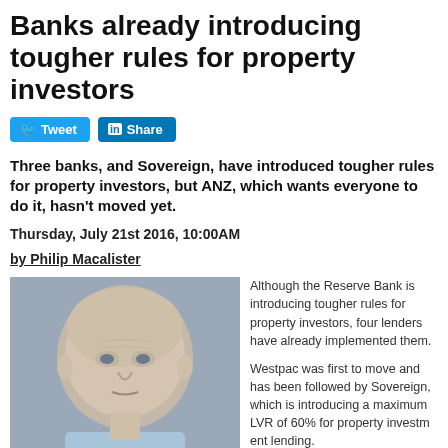Banks already introducing tougher rules for property investors
Tweet | Share
Three banks, and Sovereign, have introduced tougher rules for property investors, but ANZ, which wants everyone to do it, hasn't moved yet.
Thursday, July 21st 2016, 10:00AM
by Philip Macalister
[Figure (photo): Close-up photo of an older bald man in a light blue shirt]
Although the Reserve Bank is introducing tougher rules for property investors, four lenders have already implemented them.

Westpac was first to move and has been followed by Sovereign, which is introducing a maximum LVR of 60% for property investment lending.

ANZ chief executive... opinion piece p...